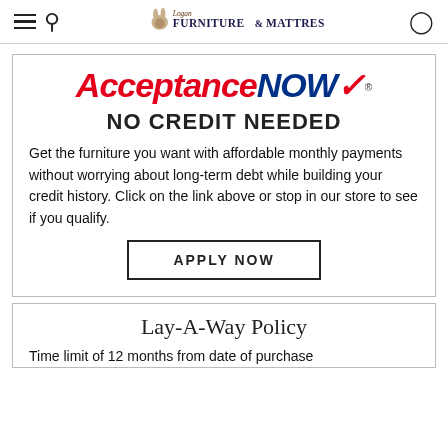Logan Furniture & Mattress — navigation header
[Figure (logo): AcceptanceNOW logo with red italic 'Acceptance' and dark blue bold italic 'NOW' with red checkmark]
NO CREDIT NEEDED
Get the furniture you want with affordable monthly payments without worrying about long-term debt while building your credit history. Click on the link above or stop in our store to see if you qualify.
APPLY NOW
Lay-A-Way Policy
Time limit of 12 months from date of purchase